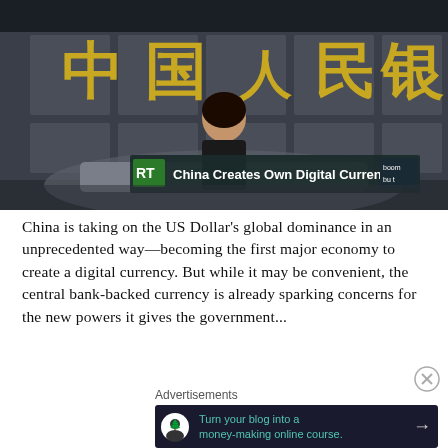[Figure (screenshot): RT (Russia Today) news broadcast screenshot showing a female news anchor at a desk in front of a studio backdrop displaying Chinese characters ('中国人民银行' - People's Bank of China). A lower-third chyron reads 'China Creates Own Digital Currency' with the RT logo and 'boom bust' branding.]
China is taking on the US Dollar's global dominance in an unprecedented way—becoming the first major economy to create a digital currency. But while it may be convenient, the central bank-backed currency is already sparking concerns for the new powers it gives the government...
Advertisements
[Figure (infographic): Advertisement banner: dark background with a tree/person icon, green text reading 'Turn your blog into a money-making online course.' with an arrow button.]